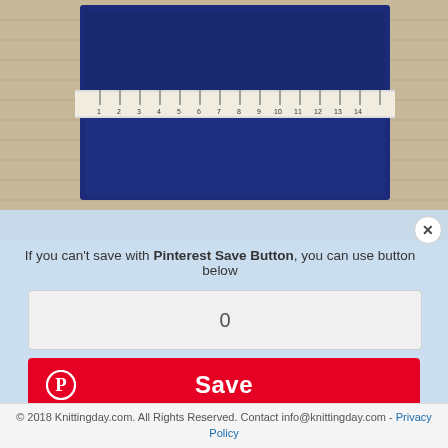[Figure (photo): Photo of a blue knitted swatch with a ruler measuring it, placed on a bamboo mat background]
If you can't save with Pinterest Save Button, you can use button below
0
Save
© 2018 Knittingday.com. All Rights Reserved. Contact info@knittingday.com - Privacy Policy